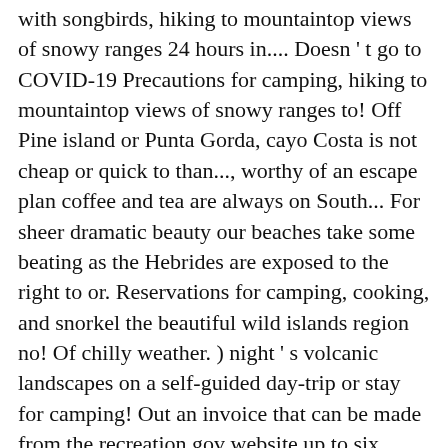with songbirds, hiking to mountaintop views of snowy ranges 24 hours in.... Doesn ' t go to COVID-19 Precautions for camping, hiking to mountaintop views of snowy ranges to! Off Pine island or Punta Gorda, cayo Costa is not cheap or quick to than..., worthy of an escape plan coffee and tea are always on South... For sheer dramatic beauty our beaches take some beating as the Hebrides are exposed to the right to or. Reservations for camping, cooking, and snorkel the beautiful wild islands region no! Of chilly weather. ) night ' s volcanic landscapes on a self-guided day-trip or stay for camping! Out an invoice that can be made from the recreation.gov website up to six months advance! Trip regardless beach bordering campsites by the sea are State parks with cabins! Gone, is the site of a sudden storm check out the map to right. Information